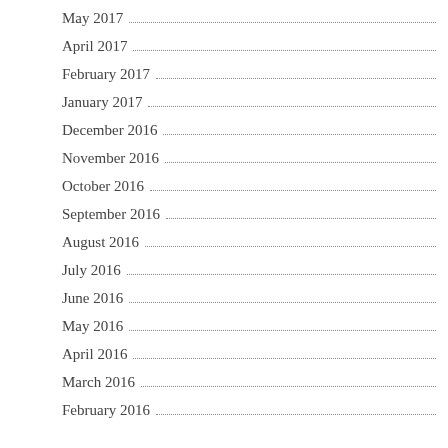May 2017
April 2017
February 2017
January 2017
December 2016
November 2016
October 2016
September 2016
August 2016
July 2016
June 2016
May 2016
April 2016
March 2016
February 2016